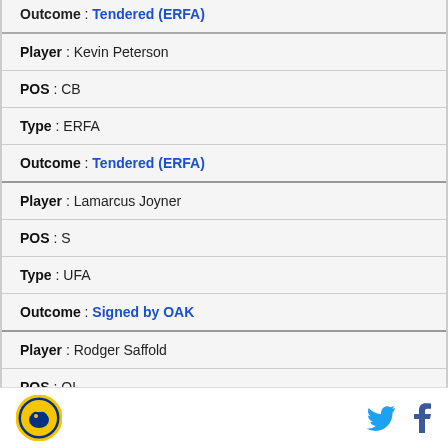Outcome : Tendered (ERFA)
Player : Kevin Peterson
POS : CB
Type : ERFA
Outcome : Tendered (ERFA)
Player : Lamarcus Joyner
POS : S
Type : UFA
Outcome : Signed by OAK
Player : Rodger Saffold
POS : OL
Logo | Twitter | Facebook